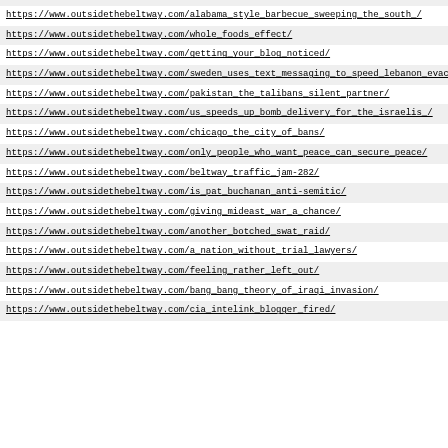https://www.outsidethebeltway.com/alabama_style_barbecue_sweeping_the_south_/
https://www.outsidethebeltway.com/whole_foods_effect/
https://www.outsidethebeltway.com/getting_your_blog_noticed/
https://www.outsidethebeltway.com/sweden_uses_text_messaging_to_speed_lebanon_evacuation/
https://www.outsidethebeltway.com/pakistan_the_talibans_silent_partner/
https://www.outsidethebeltway.com/us_speeds_up_bomb_delivery_for_the_israelis_/
https://www.outsidethebeltway.com/chicago_the_city_of_bans/
https://www.outsidethebeltway.com/only_people_who_want_peace_can_secure_peace/
https://www.outsidethebeltway.com/beltway_traffic_jam-282/
https://www.outsidethebeltway.com/is_pat_buchanan_anti-semitic/
https://www.outsidethebeltway.com/giving_mideast_war_a_chance/
https://www.outsidethebeltway.com/another_botched_swat_raid/
https://www.outsidethebeltway.com/a_nation_without_trial_lawyers/
https://www.outsidethebeltway.com/feeling_rather_left_out/
https://www.outsidethebeltway.com/bang_bang_theory_of_iraqi_invasion/
https://www.outsidethebeltway.com/cia_intelink_blogger_fired/